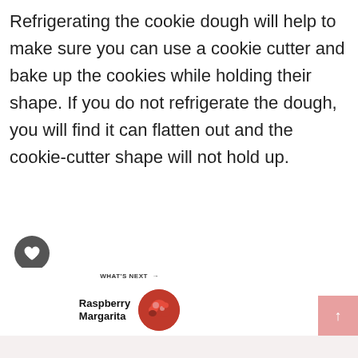Refrigerating the cookie dough will help to make sure you can use a cookie cutter and bake up the cookies while holding their shape. If you do not refrigerate the dough, you will find it can flatten out and the cookie-cutter shape will not hold up.
[Figure (other): Dark circular button with a heart icon (favorite/like button)]
[Figure (other): Light circular button with a share icon]
WHAT'S NEXT → Raspberry Margarita
[Figure (photo): Circular thumbnail image of Raspberry Margarita]